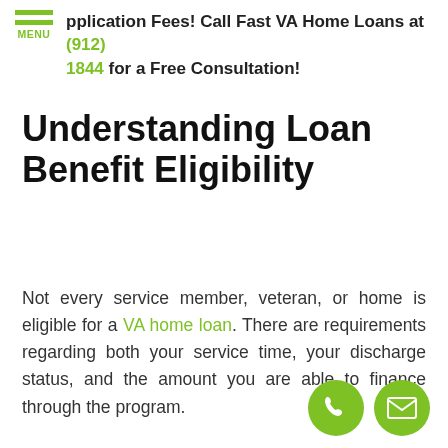Application Fees! Call Fast VA Home Loans at (912) 1844 for a Free Consultation!
Understanding Loan Benefit Eligibility
Not every service member, veteran, or home is eligible for a VA home loan. There are requirements regarding both your service time, your discharge status, and the amount you are able to finance through the program.
[Figure (illustration): Phone icon in green circle and email envelope icon in green circle]